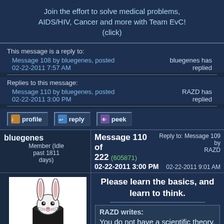Join the effort to solve medical problems, AIDS/HIV, Cancer and more with Team EvC! (click)
This message is a reply to:
Message 108 by bluegenes, posted 02-22-2011 7:57 AM
bluegenes has replied
Replies to this message:
Message 110 by bluegenes, posted 02-22-2011 3:00 PM
RAZD has replied
profile
reply
peek
bluegenes
Member (Idle past 1811 days)
Message 110 of 222 (605871)
02-22-2011 3:00 PM
Reply to: Message 109 by RAZD
02-22-2011 9:01 AM
Please learn the basics, and learn to think.
[Figure (illustration): Black and white illustration of a rabbit in a magician's top hat]
RAZD writes:
You do not have a scientific theory.